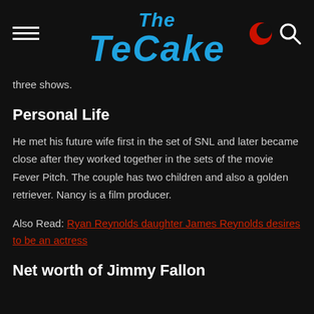The TeCake
three shows.
Personal Life
He met his future wife first in the set of SNL and later became close after they worked together in the sets of the movie Fever Pitch. The couple has two children and also a golden retriever. Nancy is a film producer.
Also Read: Ryan Reynolds daughter James Reynolds desires to be an actress
Net worth of Jimmy Fallon